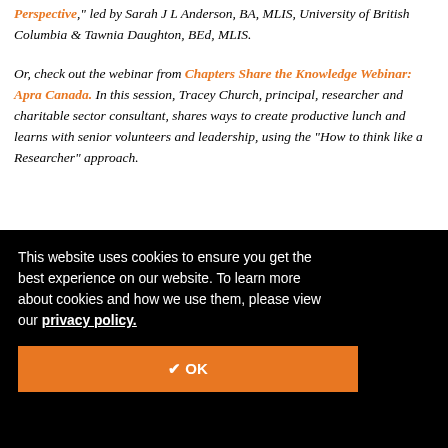Perspective," led by Sarah J L Anderson, BA, MLIS, University of British Columbia & Tawnia Daughton, BEd, MLIS.
Or, check out the webinar from Chapters Share the Knowledge Webinar: Apra Canada. In this session, Tracey Church, principal, researcher and charitable sector consultant, shares ways to create productive lunch and learns with senior volunteers and leadership, using the "How to think like a Researcher" approach.
This website uses cookies to ensure you get the best experience on our website. To learn more about cookies and how we use them, please view our privacy policy.
✔ OK
4 Likes
nd for
or
prepare researchers to identify potentially overlooked leads. With this overview, readers can be prepared for any